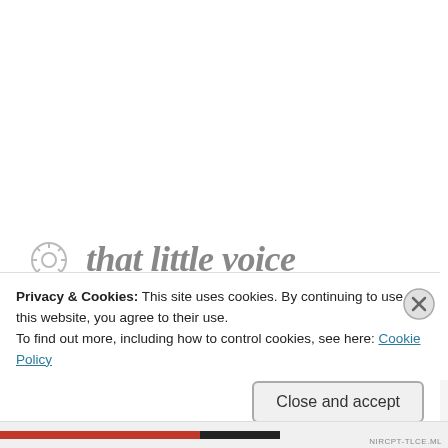that little voice
Social
Privacy & Cookies: This site uses cookies. By continuing to use this website, you agree to their use.
To find out more, including how to control cookies, see here: Cookie Policy
Close and accept